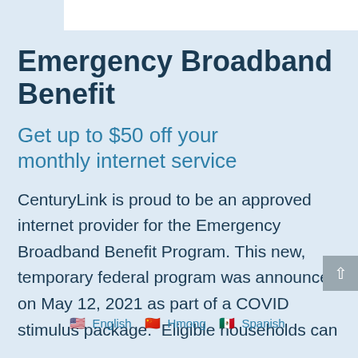Emergency Broadband Benefit
Get up to $50 off your monthly internet service
CenturyLink is proud to be an approved internet provider for the Emergency Broadband Benefit Program. This new, temporary federal program was announced on May 12, 2021 as part of a COVID stimulus package. Eligible households can
🇺🇸 English  🇨🇳 Hmong  🇲🇽 Spanish